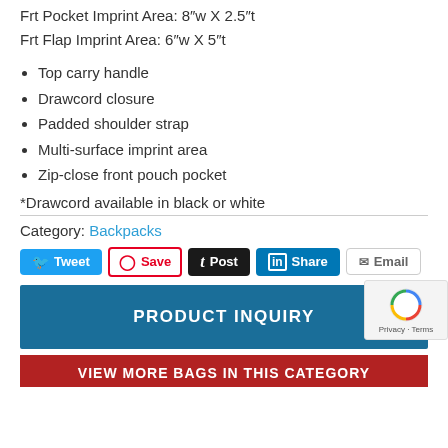Frt Pocket Imprint Area: 8″w X 2.5″t
Frt Flap Imprint Area: 6″w X 5″t
Top carry handle
Drawcord closure
Padded shoulder strap
Multi-surface imprint area
Zip-close front pouch pocket
*Drawcord available in black or white
Category: Backpacks
[Figure (screenshot): Social share buttons: Tweet, Save, Post, Share, Email]
[Figure (screenshot): PRODUCT INQUIRY button (dark blue)]
[Figure (screenshot): VIEW MORE BAGS IN THIS CATEGORY bar (red)]